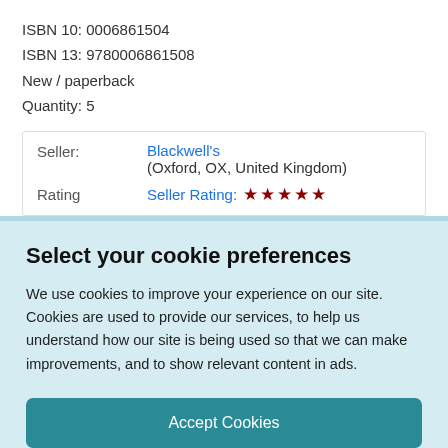ISBN 10: 0006861504
ISBN 13: 9780006861508
New / paperback
Quantity: 5
| Seller: | Blackwell's
(Oxford, OX, United Kingdom) |
| Rating | Seller Rating: ★★★★★ |
Select your cookie preferences
We use cookies to improve your experience on our site. Cookies are used to provide our services, to help us understand how our site is being used so that we can make improvements, and to show relevant content in ads.
Accept Cookies
Customise Cookies